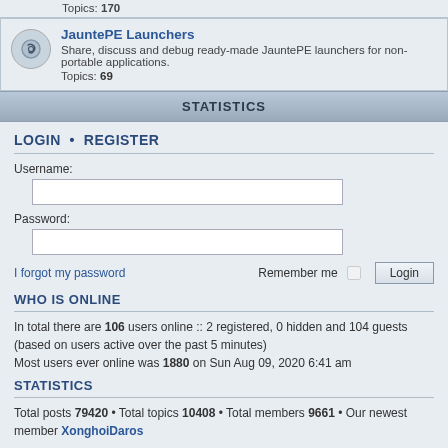Topics: 170
JauntePE Launchers — Share, discuss and debug ready-made JauntePE launchers for non-portable applications. Topics: 69
STATISTICS
LOGIN • REGISTER
Username:
Password:
I forgot my password    Remember me  Login
WHO IS ONLINE
In total there are 106 users online :: 2 registered, 0 hidden and 104 guests (based on users active over the past 5 minutes)
Most users ever online was 1880 on Sun Aug 09, 2020 6:41 am
STATISTICS
Total posts 79420 • Total topics 10408 • Total members 9661 • Our newest member XonghoiDaros
Home · Board index    Delete cookies    All times are UTC-08:00
Style developer by support forum tricolor, Powered by phpBB® Forum Software © phpBB Limited